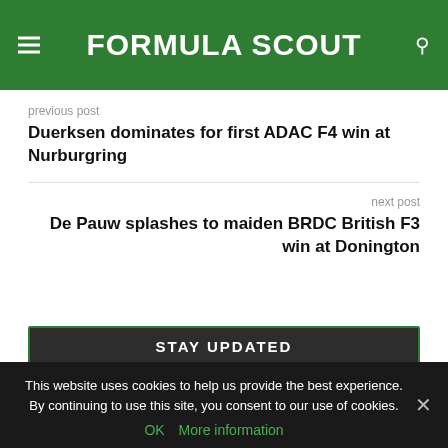FORMULA SCOUT
previous post
Duerksen dominates for first ADAC F4 win at Nurburgring
next post
De Pauw splashes to maiden BRDC British F3 win at Donington
STAY UPDATED
This website uses cookies to help us provide the best experience. By continuing to use this site, you consent to our use of cookies.
OK   More information